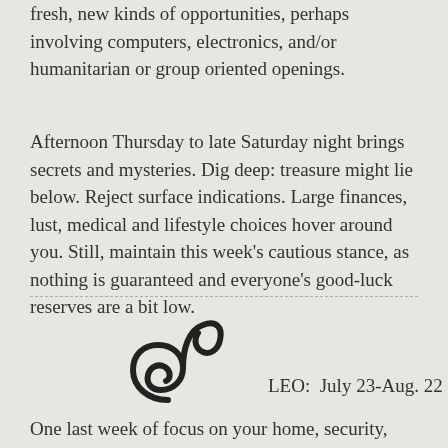fresh, new kinds of opportunities, perhaps involving computers, electronics, and/or humanitarian or group oriented openings.
Afternoon Thursday to late Saturday night brings secrets and mysteries. Dig deep: treasure might lie below. Reject surface indications. Large finances, lust, medical and lifestyle choices hover around you. Still, maintain this week's cautious stance, as nothing is guaranteed and everyone's good-luck reserves are a bit low.
[Figure (illustration): Leo zodiac symbol (astrological glyph resembling a stylized lion or cursive letter)]
LEO:  July 23-Aug. 22
One last week of focus on your home, security,